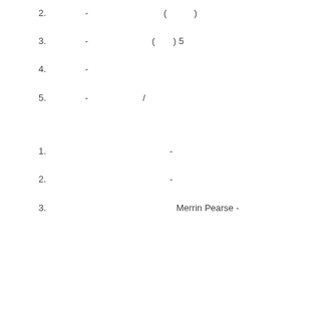2. 　　　　-　　　　　　　　　 (　　　)
3. 　　　　-　　　　　　　(　　) 5
4. 　　　　-
5. 　　　　-　　　　　　/
1. 　　　　　　　　　　　　　 -
2. 　　　　　　　　　　　　　 -
3. 　　　　　　　　　　　　　　Merrin Pearse -